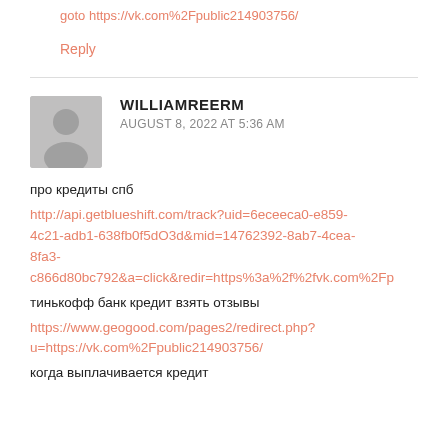goto https://vk.com%2Fpublic214903756/
Reply
WILLIAMREERM
AUGUST 8, 2022 AT 5:36 AM
про кредиты спб
http://api.getblueshift.com/track?uid=6eceeca0-e859-4c21-adb1-638fb0f5d03d&mid=14762392-8ab7-4cea-8fa3-c866d80bc792&a=click&redir=https%3a%2f%2fvk.com%2Fp
тинькофф банк кредит взять отзывы
https://www.geogood.com/pages2/redirect.php?u=https://vk.com%2Fpublic214903756/
когда выплачивается кредит